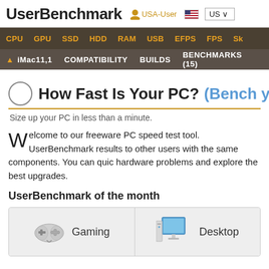UserBenchmark  USA-User  US
CPU  GPU  SSD  HDD  RAM  USB  EFPS  FPS  Sk
iMac11,1  COMPATIBILITY  BUILDS  BENCHMARKS (15)
How Fast Is Your PC? (Bench you
Size up your PC in less than a minute.
Welcome to our freeware PC speed test tool. UserBenchmark results to other users with the same components. You can quic hardware problems and explore the best upgrades.
UserBenchmark of the month
[Figure (infographic): Two category cards: Gaming (gamepad icon) and Desktop (monitor+tower icon)]